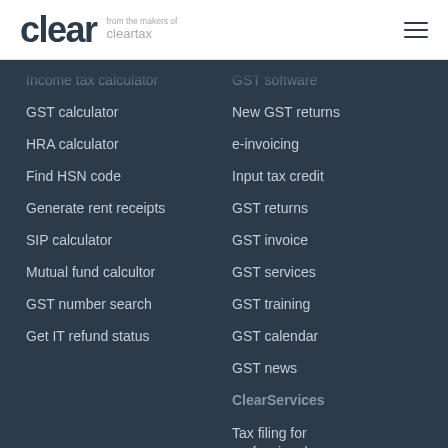clear from the makers of cleartax
Income tax calculator (truncated)
GST calculator
HRA calculator
Find HSN code
Generate rent receipts
SIP calculator
Mutual fund calcultor
GST number search
Get IT refund status
GST software (truncated)
New GST returns
e-invoicing
Input tax credit
GST returns
GST invoice
GST services
GST training
GST calendar
GST news
ClearServices
Tax filing for professionals